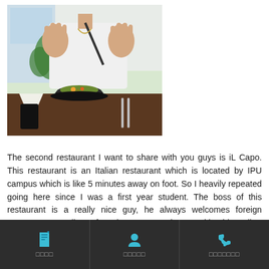[Figure (photo): A person sitting at a restaurant table with hands raised, a bowl of food in front of them on a dark wooden table with cutlery and napkin visible.]
The second restaurant I want to share with you guys is iL Capo. This restaurant is an Italian restaurant which is located by IPU campus which is like 5 minutes away on foot. So I heavily repeated going here since I was a first year student. The boss of this restaurant is a really nice guy, he always welcomes foreign customers regardless of any languages and races with a big smile.
□□□□   □□□□□   □□□□□□□